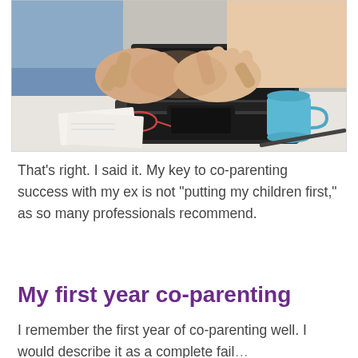[Figure (photo): Two people shaking hands over a desk with a laptop, glasses, phone, papers, and a blue mug in the background. One person wears a light blue shirt.]
That's right. I said it. My key to co-parenting success with my ex is not "putting my children first," as so many professionals recommend.
My first year co-parenting
I remember the first year of co-parenting well. I would describe it as a complete failure and so on it goes. More content...